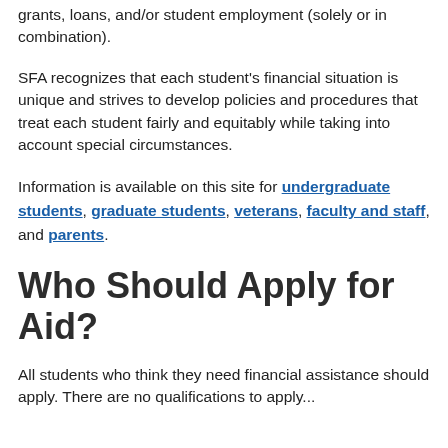grants, loans, and/or student employment (solely or in combination).
SFA recognizes that each student's financial situation is unique and strives to develop policies and procedures that treat each student fairly and equitably while taking into account special circumstances.
Information is available on this site for undergraduate students, graduate students, veterans, faculty and staff, and parents.
Who Should Apply for Aid?
All students who think they need financial assistance should apply. There are no qualifications to apply...